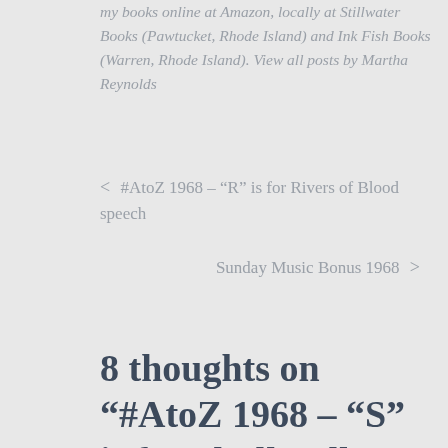my books online at Amazon, locally at Stillwater Books (Pawtucket, Rhode Island) and Ink Fish Books (Warren, Rhode Island). View all posts by Martha Reynolds
< #AtoZ 1968 – "R" is for Rivers of Blood speech
Sunday Music Bonus 1968 >
8 thoughts on "#AtoZ 1968 – "S" is for Skull Valley (Dugway sheep incident)"